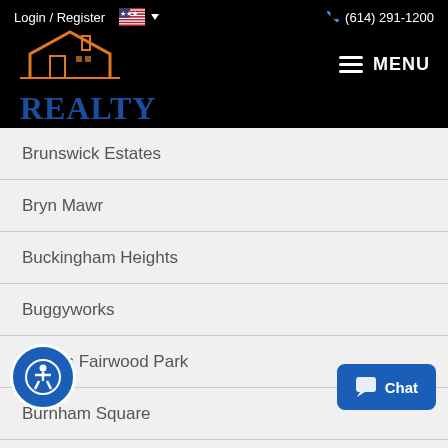[Figure (logo): Realty Ohio Real Estate logo with orange house icon and blue text on black background, with Login/Register, US flag, phone number (614) 291-1200, and MENU navigation]
Brunswick Estates
Bryn Mawr
Buckingham Heights
Buggyworks
Bulens Fairwood Park
Burnham Square
Burnside Heights
Plaza
Caldwells